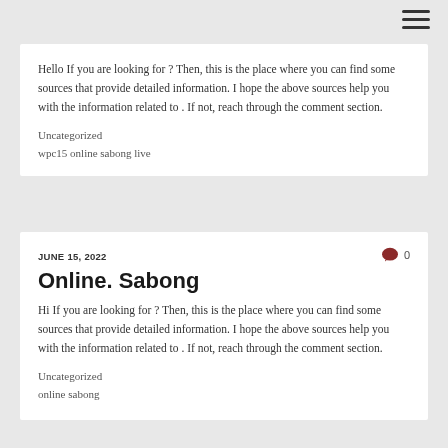Hello If you are looking for ? Then, this is the place where you can find some sources that provide detailed information. I hope the above sources help you with the information related to . If not, reach through the comment section.
Uncategorized
wpc15 online sabong live
JUNE 15, 2022
Online. Sabong
Hi If you are looking for ? Then, this is the place where you can find some sources that provide detailed information. I hope the above sources help you with the information related to . If not, reach through the comment section.
Uncategorized
online sabong